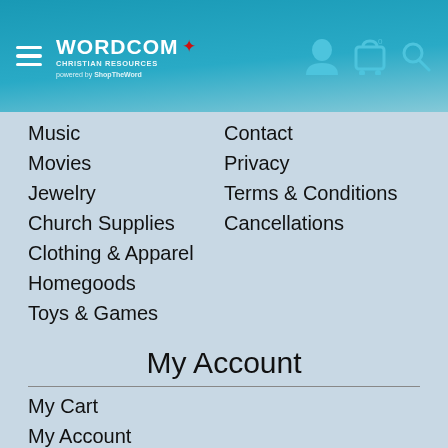[Figure (logo): Wordcom Christian Resources logo with maple leaf, powered by ShopTheWord, hamburger menu icon, and user/cart/search icons in teal header]
Music
Contact
Movies
Privacy
Jewelry
Terms & Conditions
Church Supplies
Cancellations
Clothing & Apparel
Homegoods
Toys & Games
My Account
My Cart
My Account
My Orders
Forgot Password
Create Account
Support